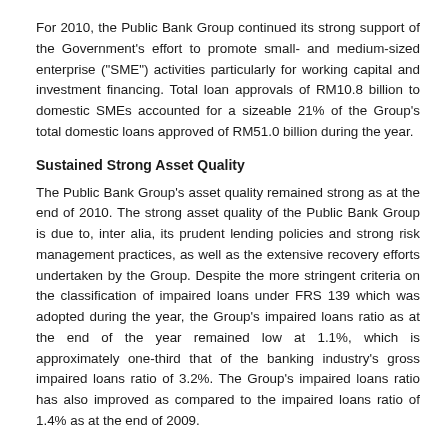For 2010, the Public Bank Group continued its strong support of the Government's effort to promote small- and medium-sized enterprise ("SME") activities particularly for working capital and investment financing. Total loan approvals of RM10.8 billion to domestic SMEs accounted for a sizeable 21% of the Group's total domestic loans approved of RM51.0 billion during the year.
Sustained Strong Asset Quality
The Public Bank Group's asset quality remained strong as at the end of 2010. The strong asset quality of the Public Bank Group is due to, inter alia, its prudent lending policies and strong risk management practices, as well as the extensive recovery efforts undertaken by the Group. Despite the more stringent criteria on the classification of impaired loans under FRS 139 which was adopted during the year, the Group's impaired loans ratio as at the end of the year remained low at 1.1%, which is approximately one-third that of the banking industry's gross impaired loans ratio of 3.2%. The Group's impaired loans ratio has also improved as compared to the impaired loans ratio of 1.4% as at the end of 2009.
The Public Bank Group's loan loss coverage ratio remains one of the highest at 143.5%, as compared to the banking industry's